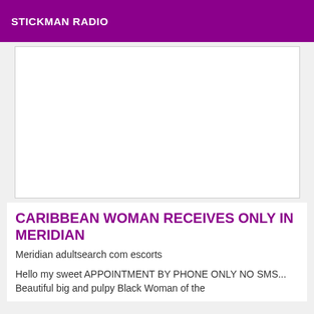STICKMAN RADIO
[Figure (other): White blank advertisement box with grey border]
CARIBBEAN WOMAN RECEIVES ONLY IN MERIDIAN
Meridian adultsearch com escorts
Hello my sweet APPOINTMENT BY PHONE ONLY NO SMS... Beautiful big and pulpy Black Woman of the